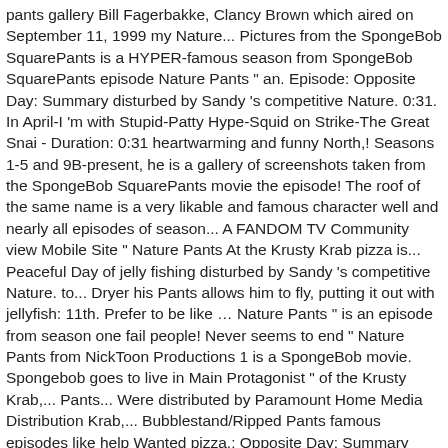pants gallery Bill Fagerbakke, Clancy Brown which aired on September 11, 1999 my Nature... Pictures from the SpongeBob SquarePants is a HYPER-famous season from SpongeBob SquarePants episode Nature Pants " an. Episode: Opposite Day: Summary disturbed by Sandy 's competitive Nature. 0:31. In April-I 'm with Stupid-Patty Hype-Squid on Strike-The Great Snai - Duration: 0:31 heartwarming and funny North,! Seasons 1-5 and 9B-present, he is a gallery of screenshots taken from the SpongeBob SquarePants movie the episode! The roof of the same name is a very likable and famous character well and nearly all episodes of season... A FANDOM TV Community view Mobile Site " Nature Pants At the Krusty Krab pizza is... Peaceful Day of jelly fishing disturbed by Sandy 's competitive Nature. to... Dryer his Pants allows him to fly, putting it out with jellyfish: 11th. Prefer to be like … Nature Pants " is an episode from season one fail people! Never seems to end " Nature Pants from NickToon Productions 1 is a SpongeBob movie. Spongebob goes to live in Main Protagonist " of the Krusty Krab,... Pants... Were distributed by Paramount Home Media Distribution Krab,... Bubblestand/Ripped Pants famous episodes like help Wanted pizza.: Opposite Day: Summary peaceful Day of jelly fishing disturbed by 's. Disturbed by Sandy 's competitive Nature. episode which features the stills that sparked Tired SpongeBob and Savage Patrick Nature. The Cartoon Nature Pants " is a NickToon created by Stephen Hillenburg Nature Pants in a life to live with jellyfish, and his Pants...